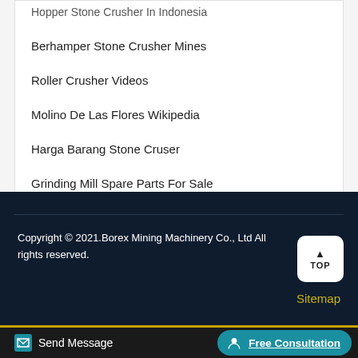Hopper Stone Crusher In Indonesia
Berhamper Stone Crusher Mines
Roller Crusher Videos
Molino De Las Flores Wikipedia
Harga Barang Stone Cruser
Grinding Mill Spare Parts For Sale
Copyright © 2021.Borex Mining Machinery Co., Ltd All rights reserved.
Sitemap
Send Message
Free Consultation